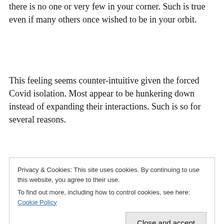there is no one or very few in your corner. Such is true even if many others once wished to be in your orbit.
This feeling seems counter-intuitive given the forced Covid isolation. Most appear to be hunkering down instead of expanding their interactions. Such is so for several reasons.
When you were part of an outer-directed lifestyle, you
Privacy & Cookies: This site uses cookies. By continuing to use this website, you agree to their use.
To find out more, including how to control cookies, see here: Cookie Policy
what one friend believes feels right, but not right enough to